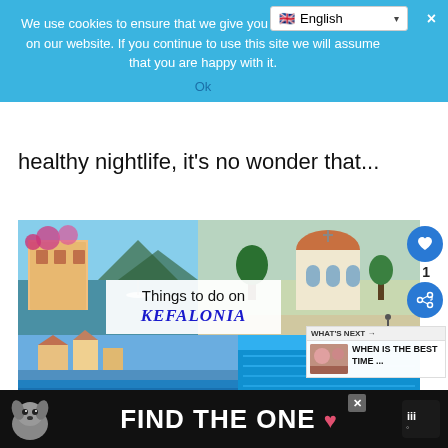We use cookies to ensure that we give you the best experience on our website. If you continue to use this site we will assume that you are happy with it.
Ok
healthy nightlife, it's no wonder that...
[Figure (photo): Collage of Kefalonia scenes: colorful building with bougainvillea by the sea, a large white Greek Orthodox church, a coastal village, and a blue swimming pool. Center overlay reads 'Things to do on KEFALONIA']
WHAT'S NEXT → WHEN IS THE BEST TIME ...
[Figure (photo): Ad banner: dog illustration with text FIND THE ONE and a heart icon, dark background]